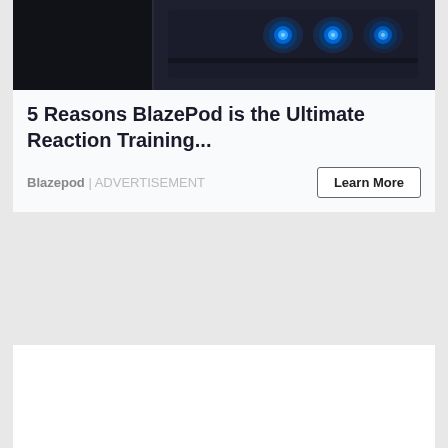[Figure (photo): Dark surface with glowing blue LED dots, top portion of a BlazePod advertisement]
5 Reasons BlazePod is the Ultimate Reaction Training...
Blazepod | ADVERTISEMENT
[Figure (photo): Man in red hoodie looking at smartphone near waterfront, Blinkist advertisement]
Apple Recommends Blinkist, The Best App For...
Blinkist Magazine | ADVERTISEMENT